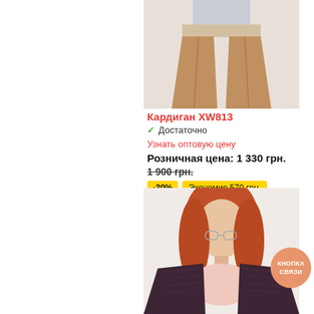[Figure (photo): Product photo of camel-colored wide-leg trousers on a model (cropped, showing only waist/legs area)]
Кардиган XW813
✓ Достаточно
Узнать оптовую цену
Розничная цена: 1 330 грн.
1 900 грн.
-30%   Экономия 570 грн.
[Figure (photo): Product photo of a woman with red hair wearing glasses and a dark brown/maroon knit cardigan over a light pink top]
КНОПКА СВЯЗИ